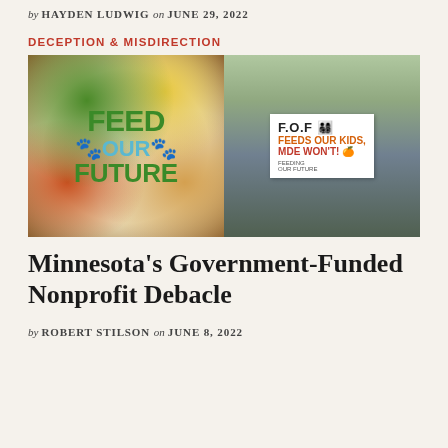by HAYDEN LUDWIG on JUNE 29, 2022
DECEPTION & MISDIRECTION
[Figure (photo): Two-panel image: left panel shows a circular plate arrangement of diverse foods with green text reading 'FEED OUR FUTURE'; right panel shows a person holding a sign reading 'F.O.F FEEDS OUR KIDS, MDE WON'T!' with 'FEEDING OUR FUTURE' text below, outdoors.]
Minnesota's Government-Funded Nonprofit Debacle
by ROBERT STILSON on JUNE 8, 2022